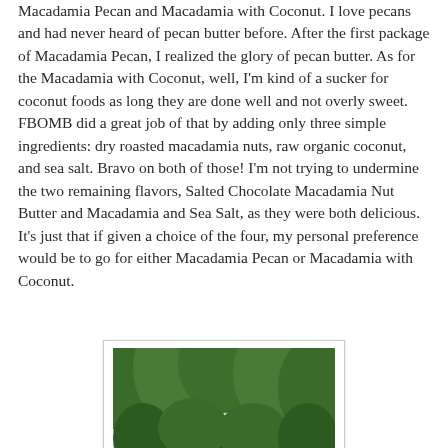Macadamia Pecan and Macadamia with Coconut. I love pecans and had never heard of pecan butter before. After the first package of Macadamia Pecan, I realized the glory of pecan butter. As for the Macadamia with Coconut, well, I'm kind of a sucker for coconut foods as long they are done well and not overly sweet. FBOMB did a great job of that by adding only three simple ingredients: dry roasted macadamia nuts, raw organic coconut, and sea salt. Bravo on both of those! I'm not trying to undermine the two remaining flavors, Salted Chocolate Macadamia Nut Butter and Macadamia and Sea Salt, as they were both delicious. It's just that if given a choice of the four, my personal preference would be to go for either Macadamia Pecan or Macadamia with Coconut.
[Figure (photo): Person photographed from the shoulders up with trees and foliage visible in the background. The photo has a white border/frame.]